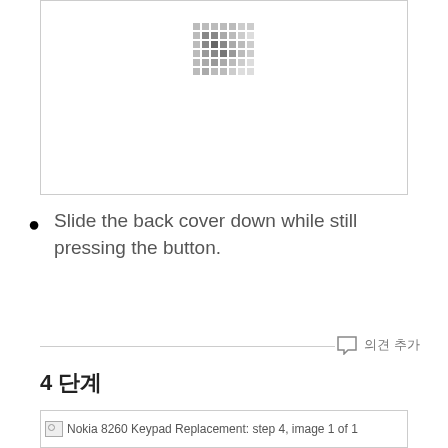[Figure (photo): Image placeholder / loading indicator with dot grid pattern, bordered box]
Slide the back cover down while still pressing the button.
[Figure (photo): Nokia 8260 Keypad Replacement: step 4, image 1 of 1 — image placeholder with broken image icon and alt text]